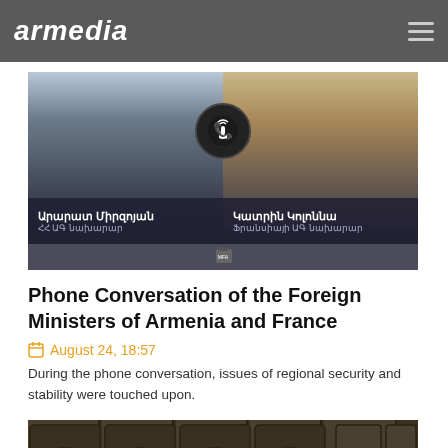armedia
[Figure (photo): Phone conversation graphic showing two officials: Արարատ Միրզոյան (Armenia FM) on the left and Կատրին Կոլոննա (France FM) on the right, with a phone call icon in the center. Armenian Ministry of Foreign Affairs branding.]
Phone Conversation of the Foreign Ministers of Armenia and France
August 24, 18:57
During the phone conversation, issues of regional security and stability were touched upon.
[Figure (photo): Photo of a meeting room with people seated, dark wooden door panels visible in the background.]